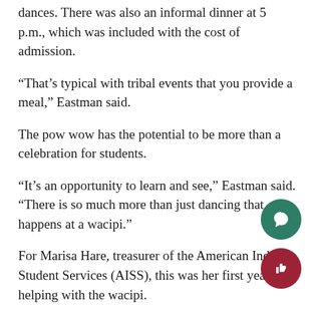dances. There was also an informal dinner at 5 p.m., which was included with the cost of admission.
“That’s typical with tribal events that you provide a meal,” Eastman said.
The pow wow has the potential to be more than a celebration for students.
“It’s an opportunity to learn and see,” Eastman said. “There is so much more than just dancing that happens at a wacipi.”
For Marisa Hare, treasurer of the American Indian Student Services (AISS), this was her first year helping with the wacipi.
Part of her role in the wacipi was to carry the flags in the grand entry, run the AISS booth, talk to alumni and participate in the honoring for the administration and retirees.